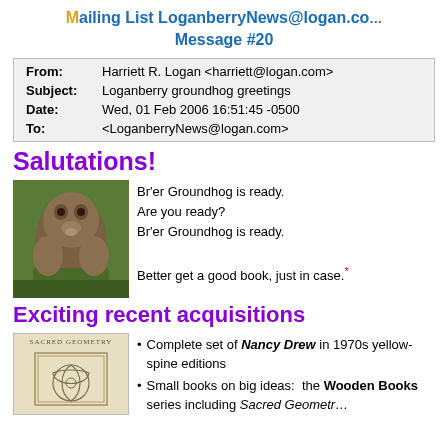Mailing List LoganberryNews@logan.com Message #20
| Field | Value |
| --- | --- |
| From: | Harriett R. Logan <harriett@logan.com> |
| Subject: | Loganberry groundhog greetings |
| Date: | Wed, 01 Feb 2006 16:51:45 -0500 |
| To: | <LoganberryNews@logan.com> |
Salutations!
[Figure (photo): A groundhog standing upright on grass]
Br'er Groundhog is ready. Are you ready? Br'er Groundhog is ready.

Better get a good book, just in case.*
Exciting recent acquisitions
[Figure (photo): Cover of Sacred Geometry book with circular geometric symbol]
Complete set of Nancy Drew in 1970s yellow-spine editions
Small books on big ideas: the Wooden Books series including Sacred Geometry